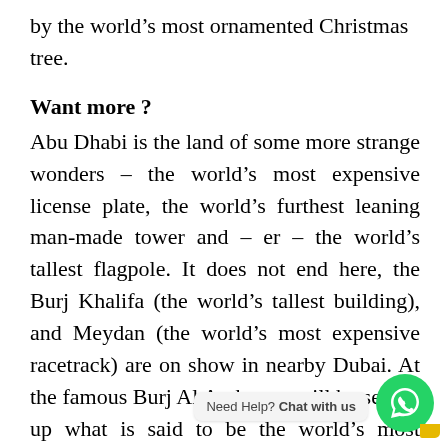by the world's most ornamented Christmas tree.
Want more ?
Abu Dhabi is the land of some more strange wonders – the world's most expensive license plate, the world's furthest leaning man-made tower and – er – the world's tallest flagpole. It does not end here, the Burj Khalifa (the world's tallest building), and Meydan (the world's most expensive racetrack) are on show in nearby Dubai. At the famous Burj Al Arab, you will be served up what is said to be the world's most expensive cocktail.